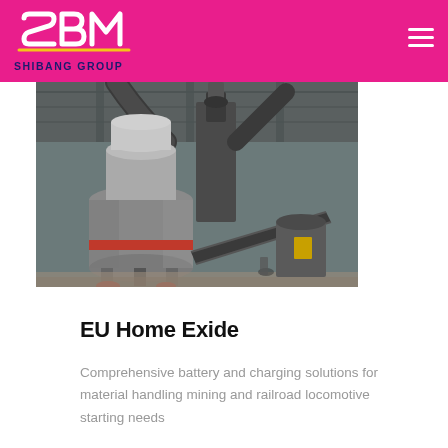SHIBANG GROUP
[Figure (photo): Industrial factory interior showing large mining/milling machinery including a vertical mill, conveyor belts, and heavy equipment inside a large steel-framed warehouse building.]
EU Home Exide
Comprehensive battery and charging solutions for material handling mining and railroad locomotive starting needs